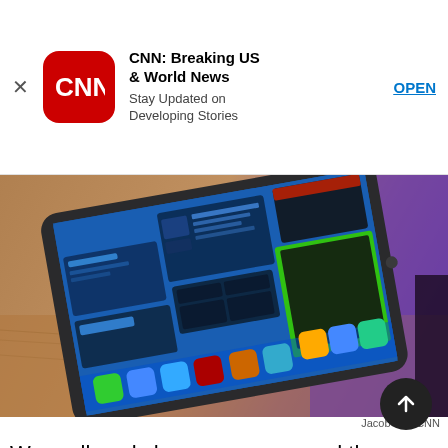[Figure (screenshot): CNN app advertisement banner with CNN logo (red rounded square), app title 'CNN: Breaking US & World News', subtitle 'Stay Updated on Developing Stories', and blue OPEN link. Close X on the left.]
[Figure (photo): Photo of an iPad lying on a wooden desk with purple ambient lighting, showing multitasking/app switcher screen with multiple app windows and colored overlays in blue and green, with app icons in the dock at the bottom.]
Jacob Krol/CNN
We really only have pause around the ninth-gen when it comes to more intense tasks like using h design or video editing — tasks that are better